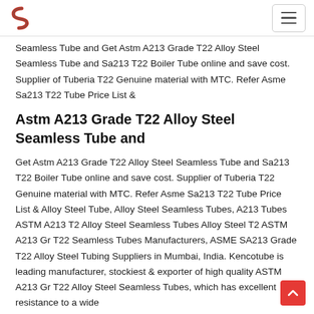Seamless Tube and Get Astm A213 Grade T22 Alloy Steel Seamless Tube and Sa213 T22 Boiler Tube online and save cost. Supplier of Tuberia T22 Genuine material with MTC. Refer Asme Sa213 T22 Tube Price List &
Astm A213 Grade T22 Alloy Steel Seamless Tube and
Get Astm A213 Grade T22 Alloy Steel Seamless Tube and Sa213 T22 Boiler Tube online and save cost. Supplier of Tuberia T22 Genuine material with MTC. Refer Asme Sa213 T22 Tube Price List & Alloy Steel Tube, Alloy Steel Seamless Tubes, A213 Tubes ASTM A213 T2 Alloy Steel Seamless Tubes Alloy Steel T2 ASTM A213 Gr T22 Seamless Tubes Manufacturers, ASME SA213 Grade T22 Alloy Steel Tubing Suppliers in Mumbai, India. Kencotube is leading manufacturer, stockiest & exporter of high quality ASTM A213 Gr T22 Alloy Steel Seamless Tubes, which has excellent resistance to a wide